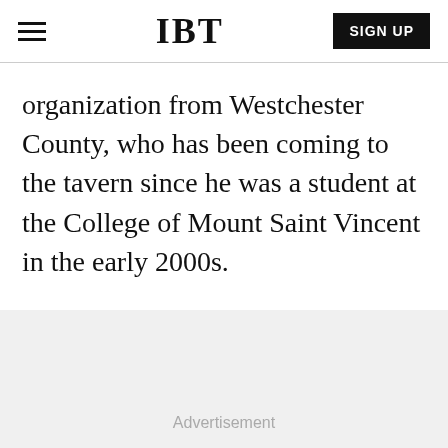IBT
organization from Westchester County, who has been coming to the tavern since he was a student at the College of Mount Saint Vincent in the early 2000s.
Advertisement